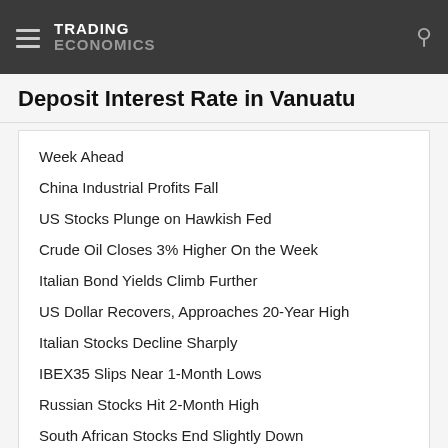TRADING ECONOMICS
Deposit Interest Rate in Vanuatu
Week Ahead
China Industrial Profits Fall
US Stocks Plunge on Hawkish Fed
Crude Oil Closes 3% Higher On the Week
Italian Bond Yields Climb Further
US Dollar Recovers, Approaches 20-Year High
Italian Stocks Decline Sharply
IBEX35 Slips Near 1-Month Lows
Russian Stocks Hit 2-Month High
South African Stocks End Slightly Down
+